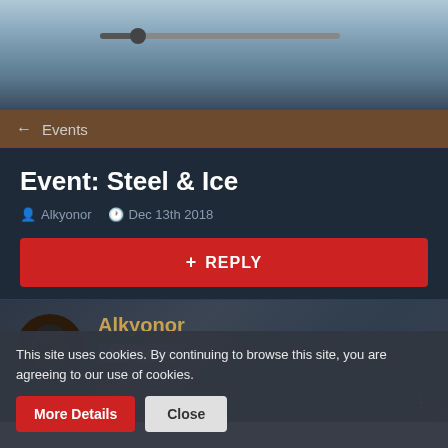[Figure (screenshot): Top banner with sky/landscape background and a progress bar control]
← Events
Event: Steel & Ice
Alkyonor  Dec 13th 2018
+ REPLY
Alkyonor
Administrator
Dec 13th 2018  +2
This site uses cookies. By continuing to browse this site, you are agreeing to our use of cookies.
More Details   Close